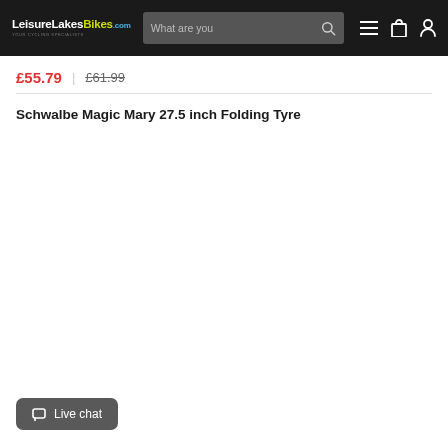LeisureLakesBikes.com — What are you looking for? [search] [menu] [cart] [account]
£55.79 | £61.99
Schwalbe Magic Mary 27.5 inch Folding Tyre
[Figure (other): Blank white product image area]
Live chat